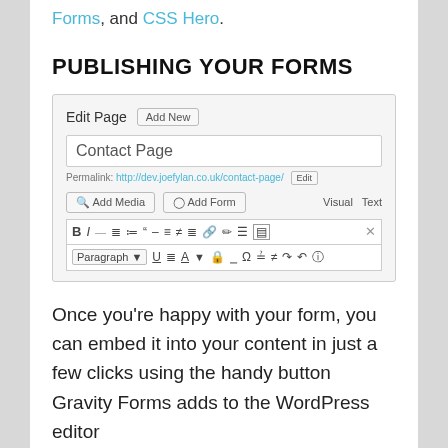Forms, and CSS Hero.
PUBLISHING YOUR FORMS
[Figure (screenshot): WordPress Edit Page interface showing 'Contact Page' title input, permalink, Add Media and Add Form buttons, and TinyMCE editor toolbar with Visual/Text tabs.]
Once you're happy with your form, you can embed it into your content in just a few clicks using the handy button Gravity Forms adds to the WordPress editor